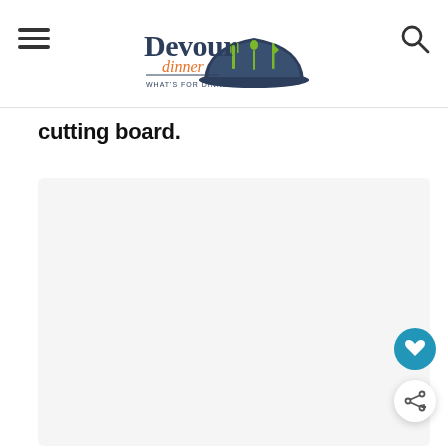Devour Dinner - WHAT'S FOR DINNER?
cutting board.
[Figure (photo): Large light gray placeholder image area representing a food photo, likely showing food on a cutting board.]